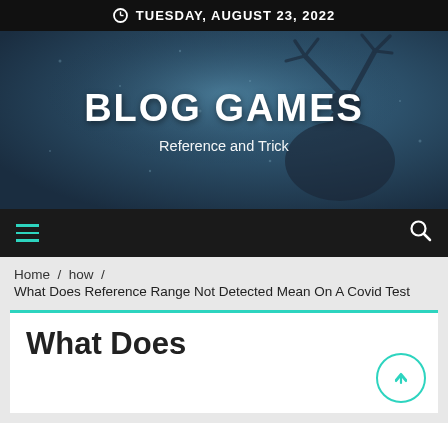TUESDAY, AUGUST 23, 2022
[Figure (illustration): Blog Games website hero banner with dark blue atmospheric background showing silhouette of a deer/stag, with large white bold text 'BLOG GAMES' and subtitle 'Reference and Trick']
BLOG GAMES
Reference and Trick
[Figure (infographic): Navigation bar with hamburger menu icon (teal/green lines) on the left and search icon (magnifying glass) on the right, on dark background]
Home / how / What Does Reference Range Not Detected Mean On A Covid Test
What Does